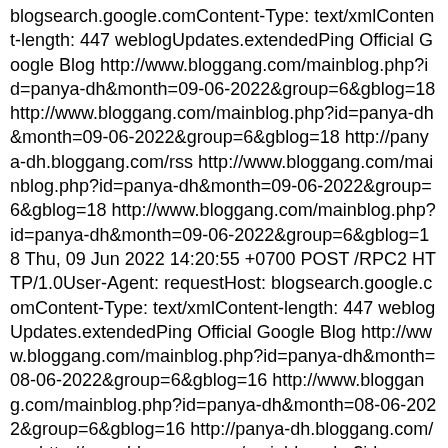blogsearch.google.comContent-Type: text/xmlContent-length: 447 weblogUpdates.extendedPing Official Google Blog http://www.bloggang.com/mainblog.php?id=panya-dh&month=09-06-2022&group=6&gblog=18 http://www.bloggang.com/mainblog.php?id=panya-dh&month=09-06-2022&group=6&gblog=18 http://panya-dh.bloggang.com/rss http://www.bloggang.com/mainblog.php?id=panya-dh&month=09-06-2022&group=6&gblog=18 http://www.bloggang.com/mainblog.php?id=panya-dh&month=09-06-2022&group=6&gblog=18 Thu, 09 Jun 2022 14:20:55 +0700 POST /RPC2 HTTP/1.0User-Agent: requestHost: blogsearch.google.comContent-Type: text/xmlContent-length: 447 weblogUpdates.extendedPing Official Google Blog http://www.bloggang.com/mainblog.php?id=panya-dh&month=08-06-2022&group=6&gblog=16 http://www.bloggang.com/mainblog.php?id=panya-dh&month=08-06-2022&group=6&gblog=16 http://panya-dh.bloggang.com/rss http://www.bloggang.com/mainblog.php?id=panya-dh&month=08-06-2022&group=6&gblog=16 http://www.bloggang.com/mainblog.php?id=panya-dh&month=08-06-2022&group=6&gblog=16 Wed, 08 Jun 2022 21:29:02 +0700 POST /RPC2 HTTP/1.0User-Agent: requestHost: blogsearch.google.comContent-Type: text/xmlContent-length: 447 weblogUpdates.extendedPing Official Google Blog http://www.bloggang.com/mainblog.php?id=panya-dh&month=07-